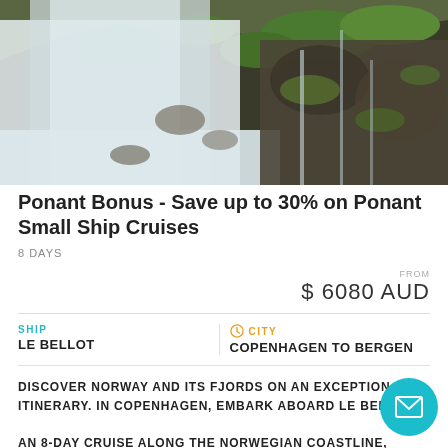[Figure (photo): Scenic waterfall cascading down a rocky cliff face with green vegetation and misty white water, likely in Norway.]
Ponant Bonus - Save up to 30% on Ponant Small Ship Cruises
8 DAYS
FROM
$ 6080 AUD
SHIP
LE BELLOT
CITY
COPENHAGEN TO BERGEN
DISCOVER NORWAY AND ITS FJORDS ON AN EXCEPTIONAL ITINERARY. IN COPENHAGEN, EMBARK ABOARD LE BELLOT FOR AN 8-DAY CRUISE ALONG THE NORWEGIAN COASTLINE, WHOSE VERTIGINOUS CLIFF FACES HAVE BEEN SCULPTED BY